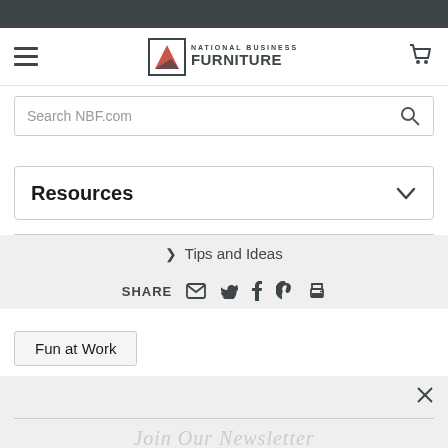National Business Furniture
Search NBF.com
Resources
> Tips and Ideas
SHARE
Fun at Work
Join Our Newsletter